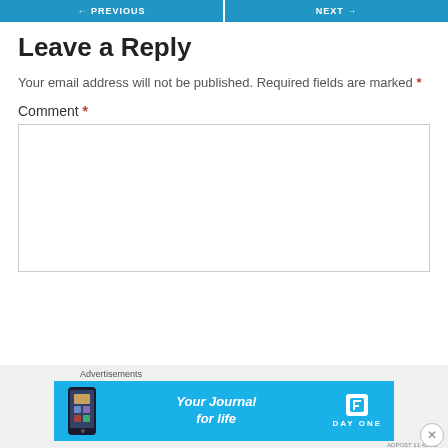← PREVIOUS   NEXT →
Leave a Reply
Your email address will not be published. Required fields are marked *
Comment *
[Figure (screenshot): Empty comment text area box with light gray border]
[Figure (infographic): Advertisement banner: 'Your Journal for life' DayOne app ad on cyan/blue background with phone image and DayOne logo]
Advertisements